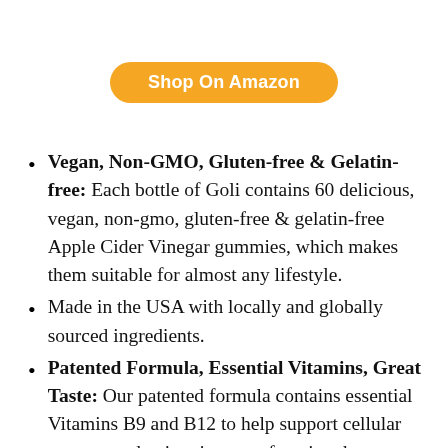Shop On Amazon
Vegan, Non-GMO, Gluten-free & Gelatin-free: Each bottle of Goli contains 60 delicious, vegan, non-gmo, gluten-free & gelatin-free Apple Cider Vinegar gummies, which makes them suitable for almost any lifestyle.
Made in the USA with locally and globally sourced ingredients.
Patented Formula, Essential Vitamins, Great Taste: Our patented formula contains essential Vitamins B9 and B12 to help support cellular energy production, immune function, heart health, healthy nutrient metabolism, a healthy nervous system and overall health and